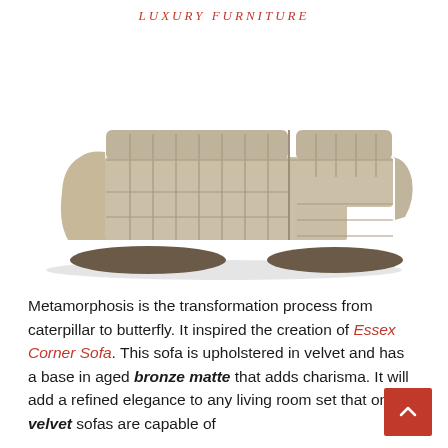LUXURY FURNITURE
[Figure (photo): Large L-shaped sectional corner sofa upholstered in beige/taupe velvet fabric with channel tufting and a low-profile aged bronze/brown matte base, viewed from a front-angled perspective on a white background.]
Metamorphosis is the transformation process from caterpillar to butterfly. It inspired the creation of Essex Corner Sofa. This sofa is upholstered in velvet and has a base in aged bronze matte that adds charisma. It will add a refined elegance to any living room set that only velvet sofas are capable of